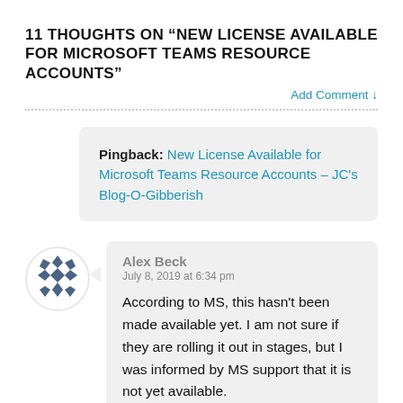11 THOUGHTS ON “NEW LICENSE AVAILABLE FOR MICROSOFT TEAMS RESOURCE ACCOUNTS”
Add Comment ↓
Pingback: New License Available for Microsoft Teams Resource Accounts – JC’s Blog-O-Gibberish
Alex Beck
July 8, 2019 at 6:34 pm

According to MS, this hasn’t been made available yet. I am not sure if they are rolling it out in stages, but I was informed by MS support that it is not yet available.